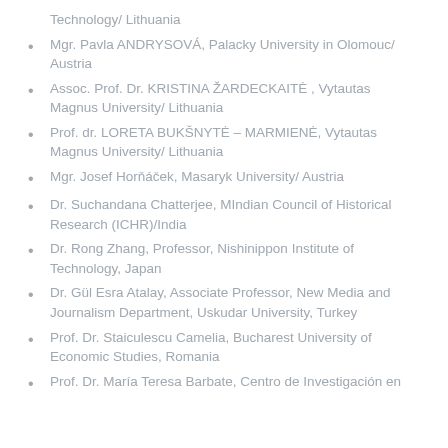Technology/ Lithuania
Mgr. Pavla ANDRYSOVÁ, Palacky University in Olomouc/ Austria
Assoc. Prof. Dr. KRISTINA ŽARDECKAITĖ , Vytautas Magnus University/ Lithuania
Prof. dr. LORETA BUKŠNYTĖ – MARMIENĖ, Vytautas Magnus University/ Lithuania
Mgr. Josef Horňáček, Masaryk University/ Austria
Dr. Suchandana Chatterjee, MIndian Council of Historical Research (ICHR)/India
Dr. Rong Zhang, Professor, Nishinippon Institute of Technology, Japan
Dr. Gül Esra Atalay, Associate Professor, New Media and Journalism Department, Uskudar University, Turkey
Prof. Dr. Staiculescu Camelia, Bucharest University of Economic Studies, Romania
Prof. Dr. María Teresa Barbate, Centro de Investigación en